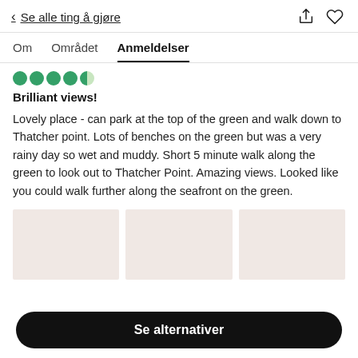< Se alle ting å gjøre
Anmeldelser
Brilliant views!
Lovely place - can park at the top of the green and walk down to Thatcher point. Lots of benches on the green but was a very rainy day so wet and muddy. Short 5 minute walk along the green to look out to Thatcher Point. Amazing views. Looked like you could walk further along the seafront on the green.
[Figure (photo): Three image placeholders in a row, light beige/pink background]
Se alternativer